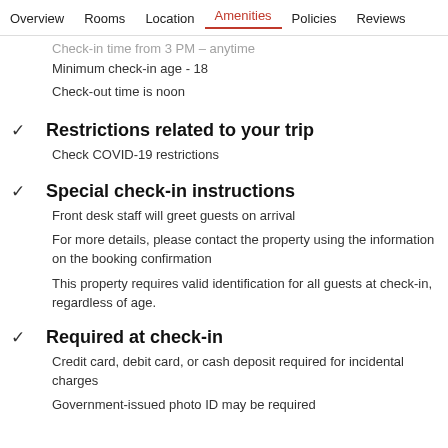Overview  Rooms  Location  Amenities  Policies  Reviews
Check-in time from 3 PM - anytime
Minimum check-in age - 18
Check-out time is noon
Restrictions related to your trip
Check COVID-19 restrictions
Special check-in instructions
Front desk staff will greet guests on arrival
For more details, please contact the property using the information on the booking confirmation
This property requires valid identification for all guests at check-in, regardless of age.
Required at check-in
Credit card, debit card, or cash deposit required for incidental charges
Government-issued photo ID may be required